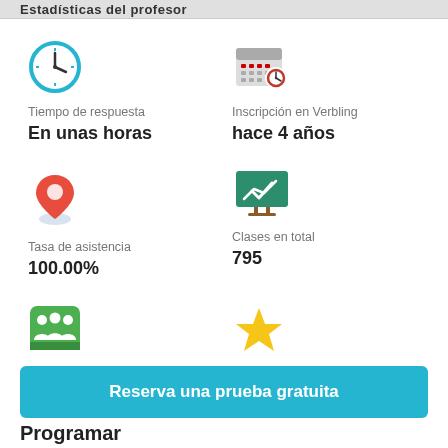Estadísticas del profesor
Tiempo de respuesta
En unas horas
Inscripción en Verbling
hace 4 años
Tasa de asistencia
100.00%
Clases en total
795
Clases por alumno
18.0 media de clase
Valoración media
4.9
Reserva una prueba gratuita
Programar